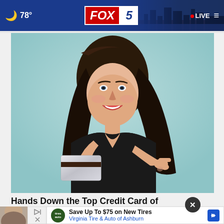🌙 78° | FOX 5 | LIVE
[Figure (photo): Young woman with long dark hair holding a credit card and pointing at it, smiling, against a teal background, wearing a black top]
Hands Down the Top Credit Card of 2022
CompareCredit
[Figure (infographic): Advertisement banner: Save Up To $75 on New Tires - Virginia Tire & Auto of Ashburn, with Tires Plus logo and blue arrow icon]